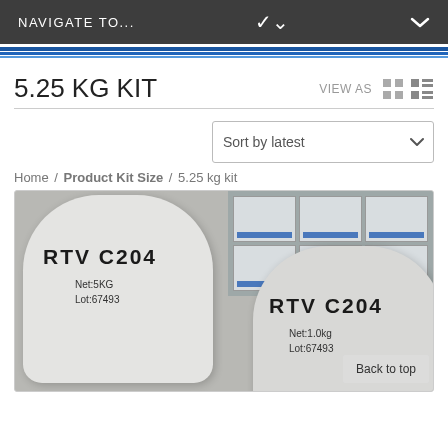NAVIGATE TO...
5.25 KG KIT
VIEW AS
Sort by latest
Home / Product Kit Size / 5.25 kg kit
[Figure (photo): Two white cylindrical buckets labeled RTV C204. Left bucket: Net:5KG, Lot:67493. Right bucket: Net:1.0kg, Lot:67493. Background shows shelved product boxes with blue labels.]
Back to top